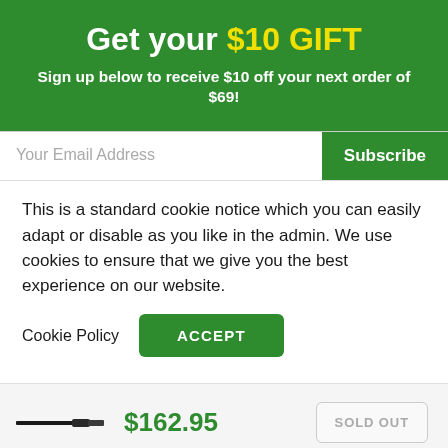Get your $10 GIFT
Sign up below to receive $10 off your next order of $69!
Your Email Address
Subscribe
This is a standard cookie notice which you can easily adapt or disable as you like in the admin. We use cookies to ensure that we give you the best experience on our website.
Cookie Policy
ACCEPT
[Figure (photo): Product image of a kitchen knife shown in profile, dark handle, narrow blade]
$162.95
SOLD OUT